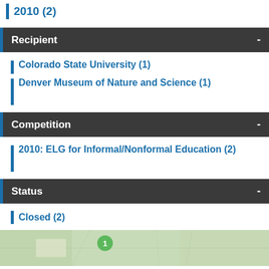2010 (2)
Recipient
Colorado State University (1)
Denver Museum of Nature and Science (1)
Competition
2010: ELG for Informal/Nonformal Education (2)
Status
Closed (2)
[Figure (map): Map preview showing geographic region with a green marker indicating 1 result]